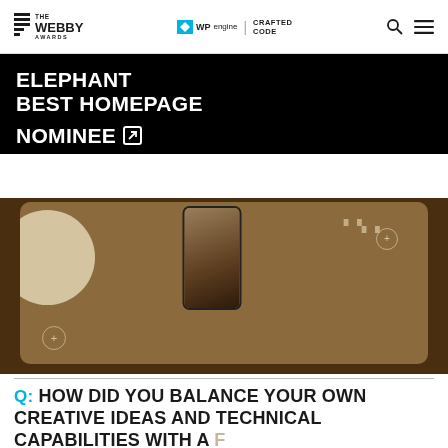THE WEBBY AWARDS | WPengine | CRAFTED CODE
ELEPHANT
BEST HOMEPAGE
NOMINEE
[Figure (screenshot): Screenshot of Elephant website homepage showing a brown/tan branded design with a phone device mockup and decorative circular elements on a dark brown background]
Q: HOW DID YOU BALANCE YOUR OWN CREATIVE IDEAS AND TECHNICAL CAPABILITIES WITH A F